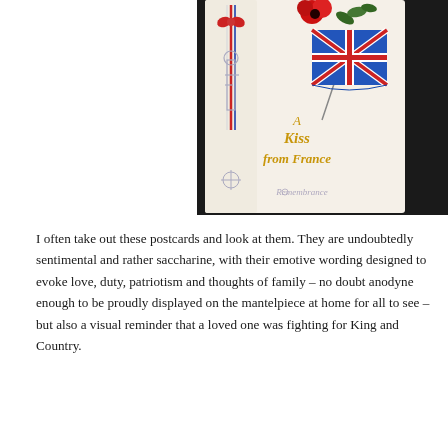[Figure (photo): A WWI silk postcard titled 'A Kiss from France' featuring an embroidered Union Jack flag, red poppies, and decorative elements on a cream/white background, with a ribbon bookmark on the left side.]
I often take out these postcards and look at them. They are undoubtedly sentimental and rather saccharine, with their emotive wording designed to evoke love, duty, patriotism and thoughts of family – no doubt anodyne enough to be proudly displayed on the mantelpiece at home for all to see – but also a visual reminder that a loved one was fighting for King and Country.